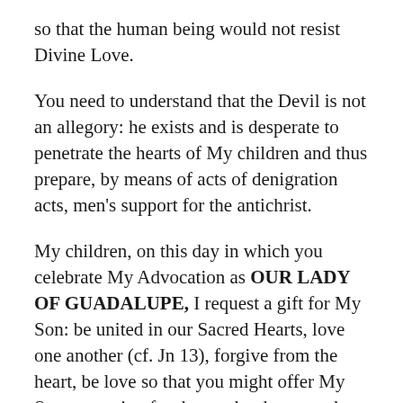so that the human being would not resist Divine Love.
You need to understand that the Devil is not an allegory: he exists and is desperate to penetrate the hearts of My children and thus prepare, by means of acts of denigration acts, men's support for the antichrist.
My children, on this day in which you celebrate My Advocation as OUR LADY OF GUADALUPE, I request a gift for My Son: be united in our Sacred Hearts, love one another (cf. Jn 13), forgive from the heart, be love so that you might offer My Son reparation for those who do not make reparation.
There is already war on Earth; it progresses little by little, the nations are at war but you children